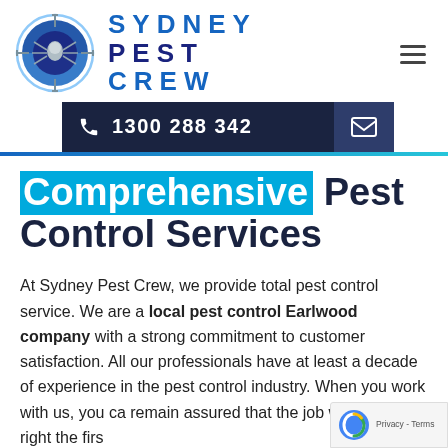[Figure (logo): Sydney Pest Crew logo with spider crosshair circular icon and bold blue text reading SYDNEY PEST CREW]
☰
📞 1300 288 342  ✉
Comprehensive Pest Control Services
At Sydney Pest Crew, we provide total pest control service. We are a local pest control Earlwood company with a strong commitment to customer satisfaction. All our professionals have at least a decade of experience in the pest control industry. When you work with us, you ca remain assured that the job will be done right the firs